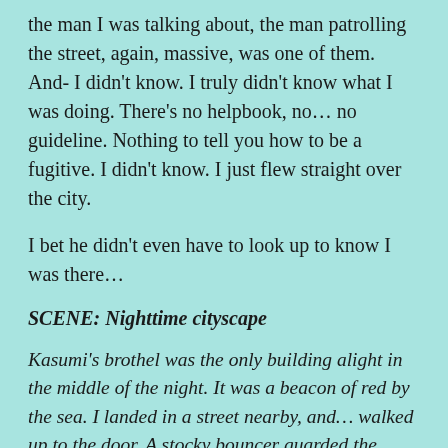the man I was talking about, the man patrolling the street, again, massive, was one of them. And- I didn't know. I truly didn't know what I was doing. There's no helpbook, no… no guideline. Nothing to tell you how to be a fugitive. I didn't know. I just flew straight over the city.
I bet he didn't even have to look up to know I was there…
SCENE: Nighttime cityscape
Kasumi's brothel was the only building alight in the middle of the night. It was a beacon of red by the sea. I landed in a street nearby, and… walked up to the door. A stocky bouncer guarded the entrance under the light one of the red lanterns. I stopped in front of him, not really certain what to say until he asked me: